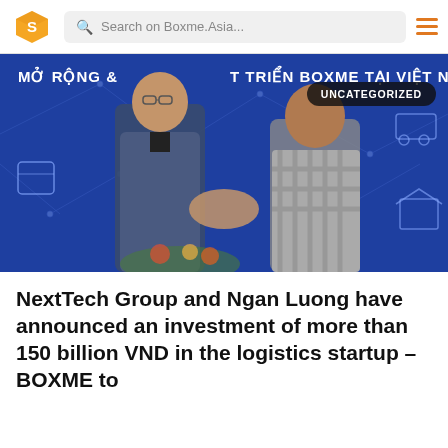Search on Boxme.Asia...
[Figure (photo): Two men shaking hands in front of a blue branded backdrop reading 'MỞ RỘNG & PHÁT TRIỂN BOXME TẠI VIỆT NAM' with logistics network graphics. One man wears a grey suit, the other wears a plaid shirt. Flowers visible in the foreground.]
NextTech Group and Ngan Luong have announced an investment of more than 150 billion VND in the logistics startup – BOXME to